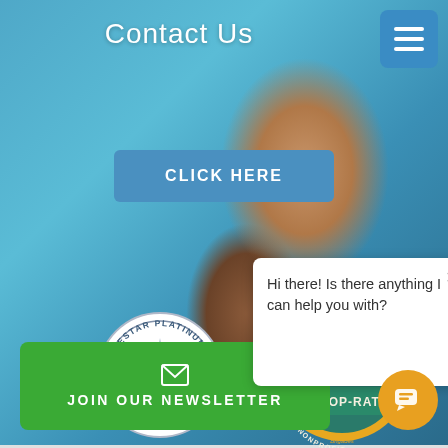Contact Us
[Figure (other): Blue 'CLICK HERE' button with rounded corners]
[Figure (logo): GuideStar Platinum Transparency 2021 circular seal with star/snowflake emblem]
[Figure (logo): GreatNonprofits 2020 Top-Rated Nonprofit gold seal with stars]
[Figure (screenshot): Chat popup with text: Hi there! Is there anything I can help you with? and an X close button]
[Figure (other): Green JOIN OUR NEWSLETTER button with envelope icon]
[Figure (other): Yellow/orange circular chat widget icon in bottom right corner]